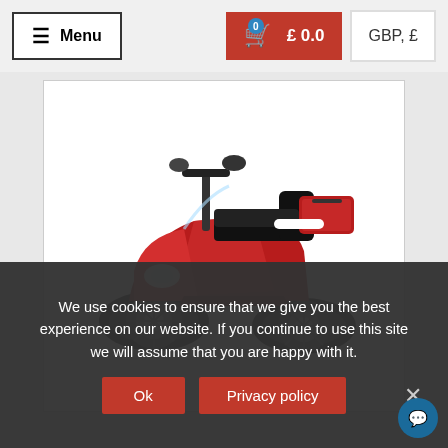Menu | £ 0.0 | GBP, £
[Figure (photo): Red mobility scooter with four wheels, black seat and handlebars, storage box at rear, shown on white background]
We use cookies to ensure that we give you the best experience on our website. If you continue to use this site we will assume that you are happy with it.
Ok | Privacy policy